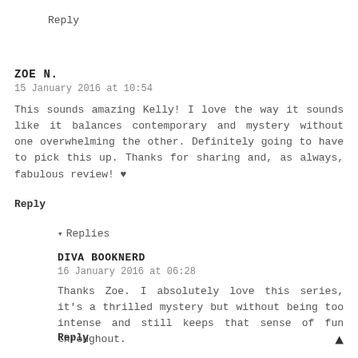Reply
ZOE N.
15 January 2016 at 10:54
This sounds amazing Kelly! I love the way it sounds like it balances contemporary and mystery without one overwhelming the other. Definitely going to have to pick this up. Thanks for sharing and, as always, fabulous review! ♥
Reply
▾ Replies
DIVA BOOKNERD
16 January 2016 at 06:28
Thanks Zoe. I absolutely love this series, it's a thrilled mystery but without being too intense and still keeps that sense of fun throughout.
Reply